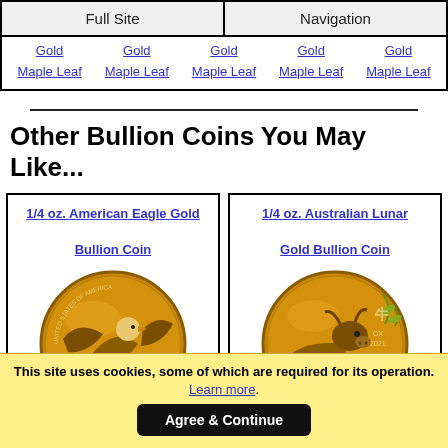Full Site | Navigation
Gold Maple Leaf (x5 links)
Other Bullion Coins You May Like...
[Figure (photo): 1/4 oz. American Eagle Gold Bullion Coin - gold coin with eagle design]
1/4 oz. American Eagle Gold Bullion Coin
[Figure (photo): 1/4 oz. Australian Lunar Gold Bullion Coin - gold coin with ox design, OX 2021]
1/4 oz. Australian Lunar Gold Bullion Coin
This site uses cookies, some of which are required for its operation. Learn more. Agree & Continue